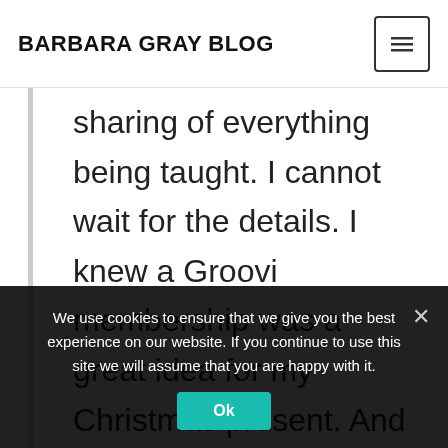BARBARA GRAY BLOG
sharing of everything being taught. I cannot wait for the details. I knew a Groovi membership was a great idea for my Christmas present. And in Tunbridge Wells so I do not even have to travel far. Fingers crossed. X
We use cookies to ensure that we give you the best experience on our website. If you continue to use this site we will assume that you are happy with it.